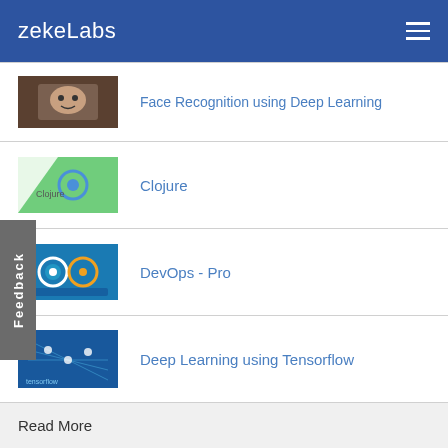zekeLabs
Face Recognition using Deep Learning
Clojure
DevOps - Pro
Deep Learning using Tensorflow
Read More
How do I check end of file (EOF) in python?
Deep Dive into Understanding Functions in Python